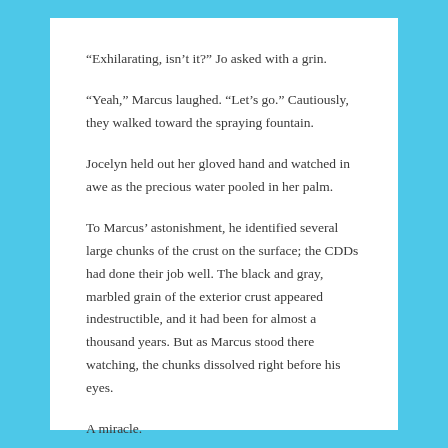“Exhilarating, isn’t it?” Jo asked with a grin.
“Yeah,” Marcus laughed. “Let’s go.” Cautiously, they walked toward the spraying fountain.
Jocelyn held out her gloved hand and watched in awe as the precious water pooled in her palm.
To Marcus’ astonishment, he identified several large chunks of the crust on the surface; the CDDs had done their job well. The black and gray, marbled grain of the exterior crust appeared indestructible, and it had been for almost a thousand years. But as Marcus stood there watching, the chunks dissolved right before his eyes.
A miracle.
#